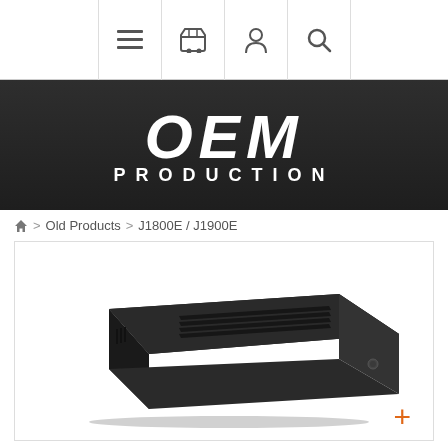[Figure (screenshot): Navigation bar with menu, cart, user, and search icons]
[Figure (logo): OEM Production logo in white text on dark background]
🏠 > Old Products > J1800E / J1900E
[Figure (photo): Black mini-ITX desktop computer case, low-profile, with ventilation slots on top, small button on front, viewed from a slight perspective angle. Orange plus icon in bottom-right corner.]
J1800E / J1900E